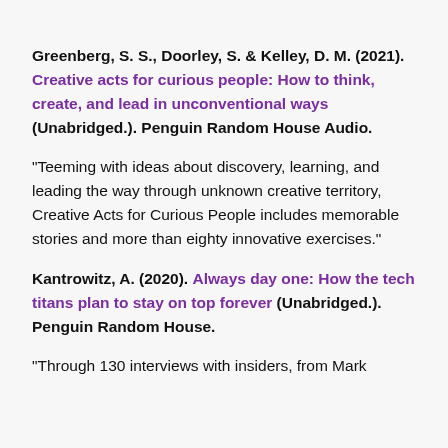Greenberg, S. S., Doorley, S. & Kelley, D. M. (2021). Creative acts for curious people: How to think, create, and lead in unconventional ways (Unabridged.). Penguin Random House Audio.
“Teeming with ideas about discovery, learning, and leading the way through unknown creative territory, Creative Acts for Curious People includes memorable stories and more than eighty innovative exercises.”
Kantrowitz, A. (2020). Always day one: How the tech titans plan to stay on top forever (Unabridged.). Penguin Random House.
“Through 130 interviews with insiders, from Mark